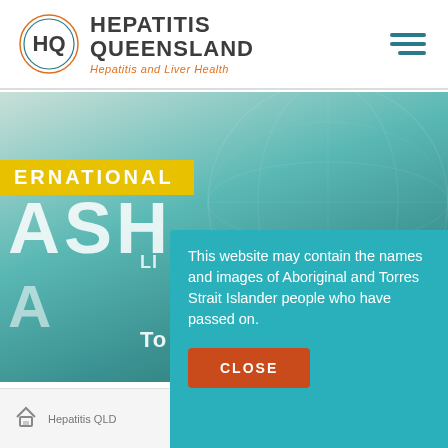[Figure (logo): Hepatitis Queensland logo with HQ circle mark and tagline 'Hepatitis and Liver Health']
[Figure (screenshot): Website banner showing International NASH Day promotional image with teal globe background, yellow INTERNATIONAL bar, large white NASH text, and a NASH Day circular badge]
This website may contain the names and images of Aboriginal and Torres Strait Islander people who have passed on.
CLOSE
Hepatitis QLD